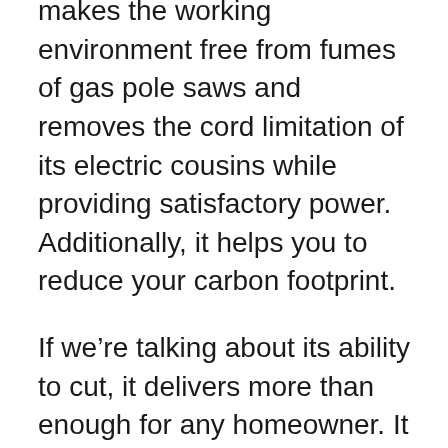makes the working environment free from fumes of gas pole saws and removes the cord limitation of its electric cousins while providing satisfactory power. Additionally, it helps you to reduce your carbon footprint.
If we're talking about its ability to cut, it delivers more than enough for any homeowner. It can cut about 100 one to half-inch branches in a single charge. Overall, this battery will support you for a longer period without any hassle.
It is recommended to have more than one battery if you want to work for a much longer time. You need to buy the battery separately. The whole tool is lightweight even at its